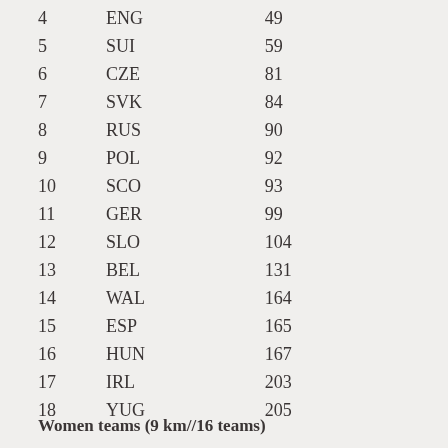| Rank | Team | Score |
| --- | --- | --- |
| 4 | ENG | 49 |
| 5 | SUI | 59 |
| 6 | CZE | 81 |
| 7 | SVK | 84 |
| 8 | RUS | 90 |
| 9 | POL | 92 |
| 10 | SCO | 93 |
| 11 | GER | 99 |
| 12 | SLO | 104 |
| 13 | BEL | 131 |
| 14 | WAL | 164 |
| 15 | ESP | 165 |
| 16 | HUN | 167 |
| 17 | IRL | 203 |
| 18 | YUG | 205 |
Women teams (9 km//16 teams)